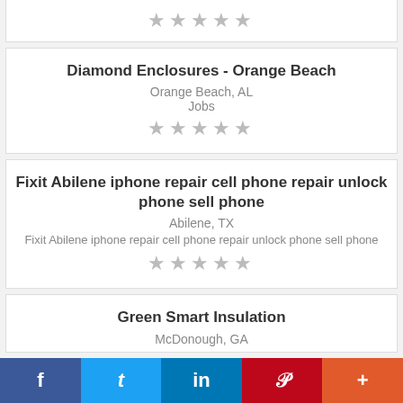[Figure (other): Five empty star rating icons (top partial card)]
Diamond Enclosures - Orange Beach
Orange Beach, AL
Jobs
[Figure (other): Five empty star rating icons]
Fixit Abilene iphone repair cell phone repair unlock phone sell phone
Abilene, TX
Fixit Abilene iphone repair cell phone repair unlock phone sell phone
[Figure (other): Five empty star rating icons]
Green Smart Insulation
McDonough, GA
f  t  in  P  +